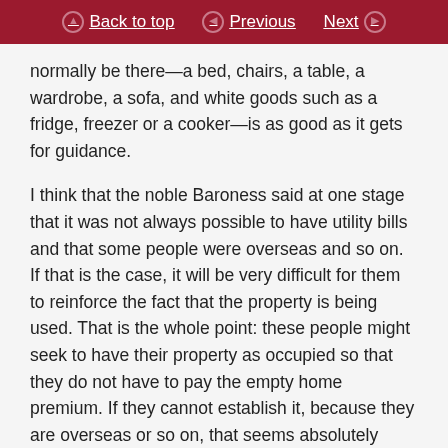Back to top | Previous | Next
normally be there—a bed, chairs, a table, a wardrobe, a sofa, and white goods such as a fridge, freezer or a cooker—is as good as it gets for guidance.
I think that the noble Baroness said at one stage that it was not always possible to have utility bills and that some people were overseas and so on. If that is the case, it will be very difficult for them to reinforce the fact that the property is being used. That is the whole point: these people might seek to have their property as occupied so that they do not have to pay the empty home premium. If they cannot establish it, because they are overseas or so on, that seems absolutely correct. As I say, I am very happy to engage with the noble Baroness and others